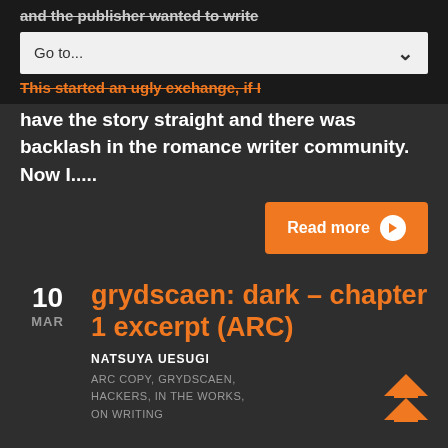and the publisher wanted to write
Go to...
This started an ugly exchange, if I have the story straight and there was backlash in the romance writer community. Now I.....
Read more
grydscaen: dark – chapter 1 excerpt (ARC)
NATSUYA UESUGI
ARC COPY, GRYDSCAEN, HACKERS, IN THE WORKS, ON WRITING